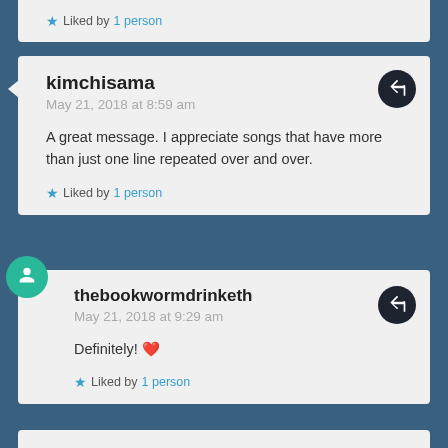Liked by 1 person
kimchisama
May 21, 2018 at 8:59 am

A great message. I appreciate songs that have more than just one line repeated over and over.

Liked by 1 person
thebookwormdrinketh
May 21, 2018 at 9:29 am

Definitely! ❤️

Liked by 1 person